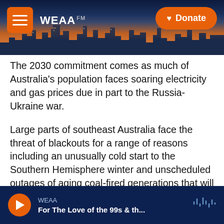[Figure (screenshot): WEAA radio station website header with city skyline background, hamburger menu button on the left, WEAA FM logo in the center-left, and orange Donate button on the right]
The 2030 commitment comes as much of Australia's population faces soaring electricity and gas prices due in part to the Russia-Ukraine war.
Large parts of southeast Australia face the threat of blackouts for a range of reasons including an unusually cold start to the Southern Hemisphere winter and unscheduled outages of aging coal-fired generations that will be shut down within years and are not being adequately maintained.
Copyright 2022 NPR. To see more, visit
WEAA  For The Love of the 99s & th...